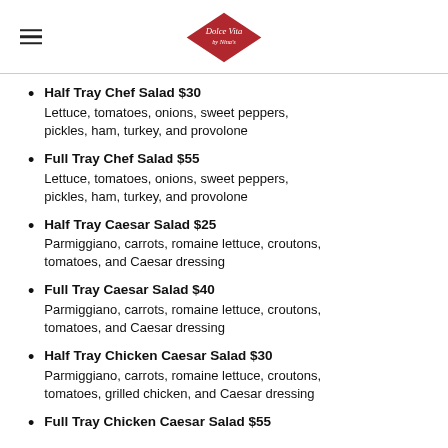Dolce Vita by Nina's
Half Tray Chef Salad $30 — Lettuce, tomatoes, onions, sweet peppers, pickles, ham, turkey, and provolone
Full Tray Chef Salad $55 — Lettuce, tomatoes, onions, sweet peppers, pickles, ham, turkey, and provolone
Half Tray Caesar Salad $25 — Parmiggiano, carrots, romaine lettuce, croutons, tomatoes, and Caesar dressing
Full Tray Caesar Salad $40 — Parmiggiano, carrots, romaine lettuce, croutons, tomatoes, and Caesar dressing
Half Tray Chicken Caesar Salad $30 — Parmiggiano, carrots, romaine lettuce, croutons, tomatoes, grilled chicken, and Caesar dressing
Full Tray Chicken Caesar Salad $55